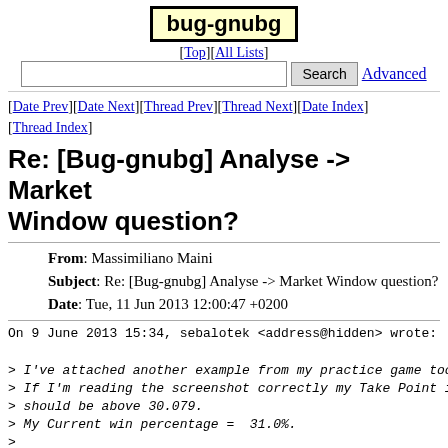bug-gnubg
[Top][All Lists]
Search  Advanced
[Date Prev][Date Next][Thread Prev][Thread Next][Date Index][Thread Index]
Re: [Bug-gnubg] Analyse -> Market Window question?
From: Massimiliano Maini
Subject: Re: [Bug-gnubg] Analyse -> Market Window question?
Date: Tue, 11 Jun 2013 12:00:47 +0200
On 9 June 2013 15:34, sebalotek <address@hidden> wrote:

> I've attached another example from my practice game too
> If I'm reading the screenshot correctly my Take Point i
> should be above 30.079.
> My Current win percentage =  31.0%.
>
> So why is it classified as 'Bad' when I do Take at this